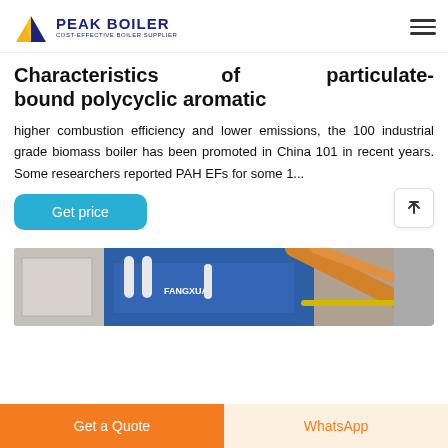PEAK BOILER COST-EFFECTIVE BOILER SUPPLIER
Characteristics of particulate-bound polycyclic aromatic
higher combustion efficiency and lower emissions, the 100 industrial grade biomass boiler has been promoted in China 101 in recent years. Some researchers reported PAH EFs for some 1...
[Figure (photo): Industrial boiler facility showing pipes and equipment, with FANGXUAI branding visible on blue building]
Get a Quote | WhatsApp